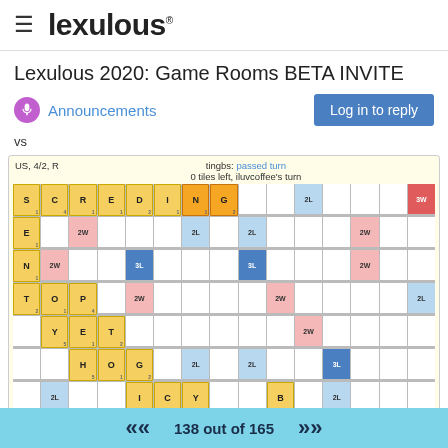lexulous
Lexulous 2020: Game Rooms BETA INVITE
Announcements
Log in to reply
vs
[Figure (screenshot): Scrabble-style game board showing a partial game on Lexulous. Board shows words SCREDING, SENT, TOP, YET, HOG, ICY, B, E, V, AWOL, FEA, AND placed on the board. Info shows: US, 4/2, R | tingbs: passed turn | 0 tiles left, iluvcoffee's turn]
138 out of 165